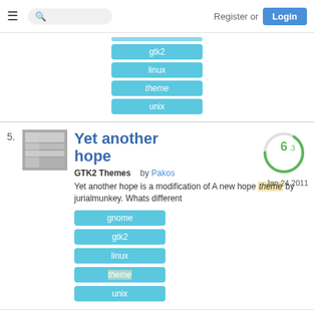Register or Login
gtk2
linux
theme
unix
5. Yet another hope
GTK2 Themes   by Pakos
Yet another hope is a modification of A new hope theme by jurialmunkey. Whats different
gnome
gtk2
linux
theme
unix